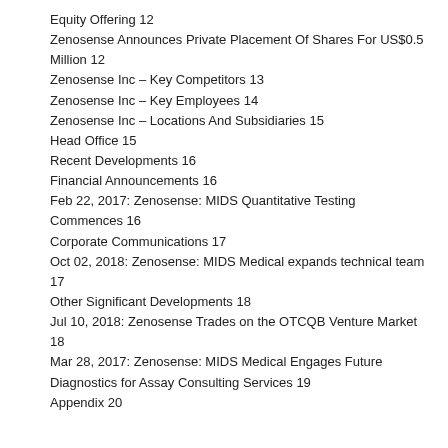Equity Offering 12
Zenosense Announces Private Placement Of Shares For US$0.5 Million 12
Zenosense Inc – Key Competitors 13
Zenosense Inc – Key Employees 14
Zenosense Inc – Locations And Subsidiaries 15
Head Office 15
Recent Developments 16
Financial Announcements 16
Feb 22, 2017: Zenosense: MIDS Quantitative Testing Commences 16
Corporate Communications 17
Oct 02, 2018: Zenosense: MIDS Medical expands technical team 17
Other Significant Developments 18
Jul 10, 2018: Zenosense Trades on the OTCQB Venture Market 18
Mar 28, 2017: Zenosense: MIDS Medical Engages Future Diagnostics for Assay Consulting Services 19
Appendix 20